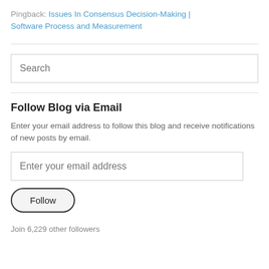Pingback: Issues In Consensus Decision-Making | Software Process and Measurement
Search
Follow Blog via Email
Enter your email address to follow this blog and receive notifications of new posts by email.
Enter your email address
Follow
Join 6,229 other followers